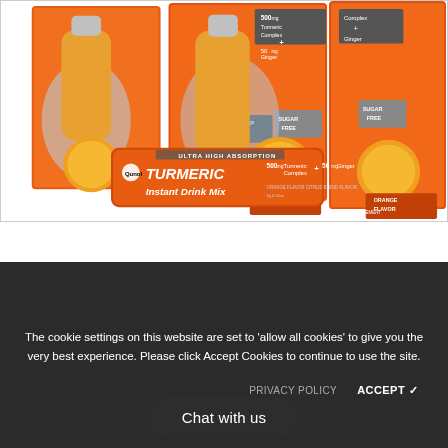[Figure (photo): Product photo of Qunol Turmeric Instant Drink Mix boxes in orange packaging, showing 500mg Turmeric Complex + 50mg Ginger, 15 servings, Sugar Free, Orange Flavor, alongside a single-serve packet. Products displayed against a white background.]
The cookie settings on this website are set to 'allow all cookies' to give you the very best experience. Please click Accept Cookies to continue to use the site.
PRIVACY POLICY    ACCEPT ✓
Chat with us